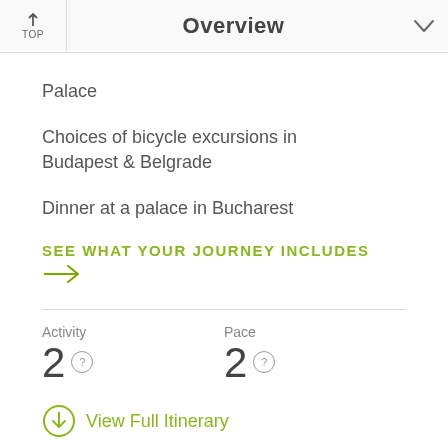Overview
Palace
Choices of bicycle excursions in Budapest & Belgrade
Dinner at a palace in Bucharest
SEE WHAT YOUR JOURNEY INCLUDES →
Activity
2
Pace
2
View Full Itinerary